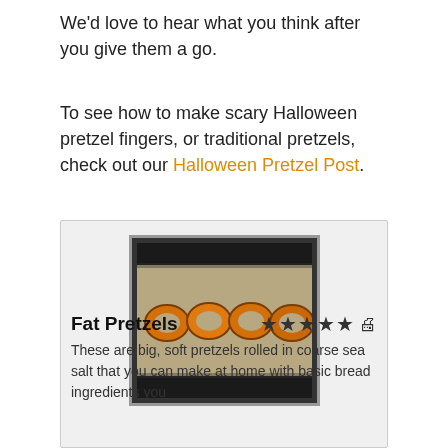We'd love to hear what you think after you give them a go.
To see how to make scary Halloween pretzel fingers, or traditional pretzels, check out our Halloween Pretzel Post.
[Figure (photo): Photo of fat pretzels on a baking tray, golden-brown rings in a row]
Fat Pretzels
These are big, soft pretzels rolled in coarse sea salt that you can make at home with basic bread ingredients you